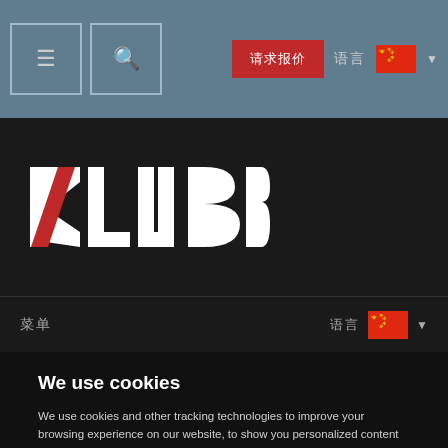Navigation bar with menu icon, search icon, Chinese text button, language selector with Chinese flag
[Figure (logo): KLUBB company logo in white with red diagonal slash through K, on dark background]
菜单
语言 🇨🇳 ▼
We use cookies
We use cookies and other tracking technologies to improve your browsing experience on our website, to show you personalized content and targeted ads, to analyze our website traffic, and to understand where our visitors are coming from.
OK